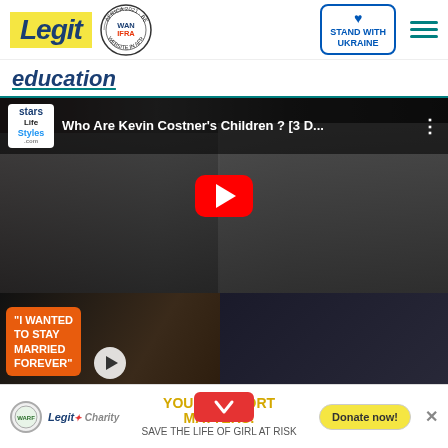Legit | WAN-IFRA 2021 Best News Website in Africa | Stand with Ukraine
education
[Figure (screenshot): YouTube video thumbnail for 'Who Are Kevin Costner's Children? [3 D...' with play button overlay, showing Kevin Costner with family members at red carpet events.]
[Figure (screenshot): Thumbnail strip with two panels: left shows 'I WANTED TO STAY MARRIED FOREVER' speech bubble overlay on celebrity image with small play button; right shows title 'Who Are Kevin Costner's Children?']
YOUR SUPPORT MATTERS! SAVE THE LIFE OF GIRL AT RISK
Donate now!